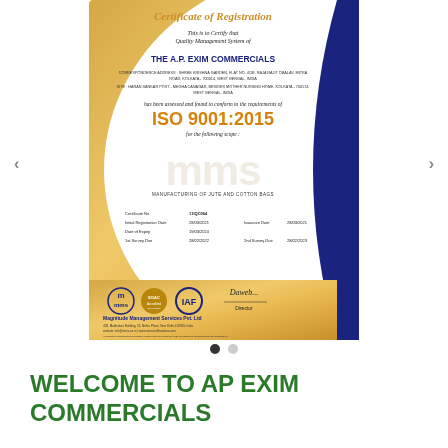[Figure (illustration): ISO 9001:2015 Certificate of Registration for THE A.P. EXIM COMMERCIALS, issued by Magnitude Management Services Pvt. Ltd. The certificate shows company address, scope of manufacturing of jute and cotton bags, certificate details including certificate number 11IQC064, initial registration date 28/03/2021, date of expiry 19/03/2024, 1st survey due 28/02/2022, issuance date 28/03/2021, 2nd survey due 28/02/2023. Includes MMS, EGAC, and IAF logos with Director signature.]
[Figure (other): Navigation dots — one filled (active) and one empty (inactive)]
WELCOME TO AP EXIM COMMERCIALS